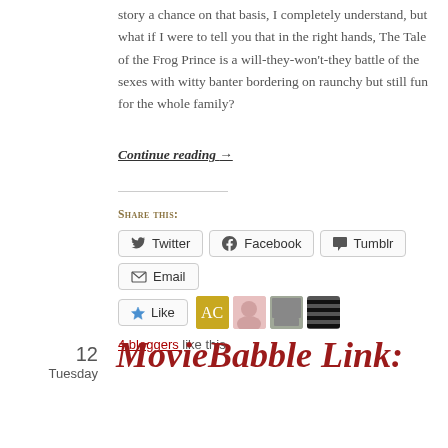story a chance on that basis, I completely understand, but what if I were to tell you that in the right hands, The Tale of the Frog Prince is a will-they-won't-they battle of the sexes with witty banter bordering on raunchy but still fun for the whole family?
Continue reading →
Share this:
Twitter Facebook Tumblr Email
Like
4 bloggers like this.
12 Tuesday
MovieBabble Link: